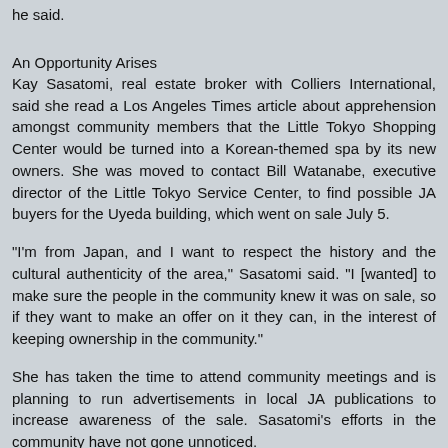he said.
An Opportunity Arises
Kay Sasatomi, real estate broker with Colliers International, said she read a Los Angeles Times article about apprehension amongst community members that the Little Tokyo Shopping Center would be turned into a Korean-themed spa by its new owners. She was moved to contact Bill Watanabe, executive director of the Little Tokyo Service Center, to find possible JA buyers for the Uyeda building, which went on sale July 5.
"I'm from Japan, and I want to respect the history and the cultural authenticity of the area," Sasatomi said. "I [wanted] to make sure the people in the community knew it was on sale, so if they want to make an offer on it they can, in the interest of keeping ownership in the community."
She has taken the time to attend community meetings and is planning to run advertisements in local JA publications to increase awareness of the sale. Sasatomi's efforts in the community have not gone unnoticed.